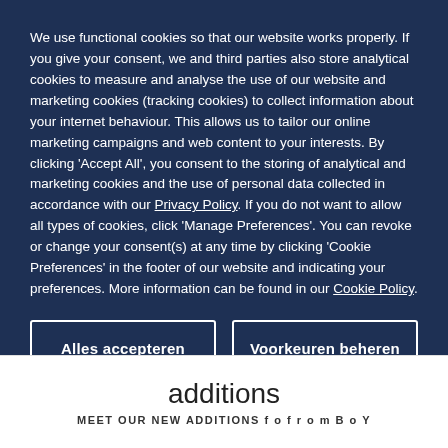We use functional cookies so that our website works properly. If you give your consent, we and third parties also store analytical cookies to measure and analyse the use of our website and marketing cookies (tracking cookies) to collect information about your internet behaviour. This allows us to tailor our online marketing campaigns and web content to your interests. By clicking 'Accept All', you consent to the storing of analytical and marketing cookies and the use of personal data collected in accordance with our Privacy Policy. If you do not want to allow all types of cookies, click 'Manage Preferences'. You can revoke or change your consent(s) at any time by clicking 'Cookie Preferences' in the footer of our website and indicating your preferences. More information can be found in our Cookie Policy.
Alles accepteren
Voorkeuren beheren
additions
MEET OUR NEW ADDITIONS f o f r o m B o Y